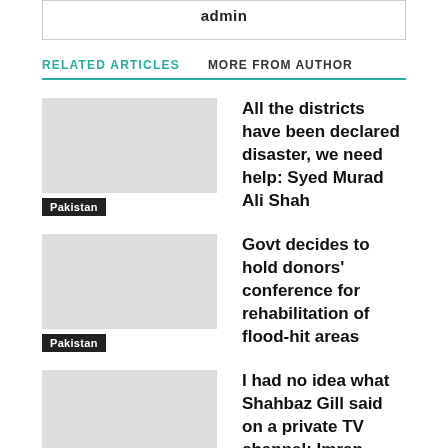admin
RELATED ARTICLES   MORE FROM AUTHOR
All the districts have been declared disaster, we need help: Syed Murad Ali Shah
Pakistan
Govt decides to hold donors’ conference for rehabilitation of flood-hit areas
Pakistan
I had no idea what Shahbaz Gill said on a private TV channel: Imran Khan
Pakistan
Film, drama can play major role in